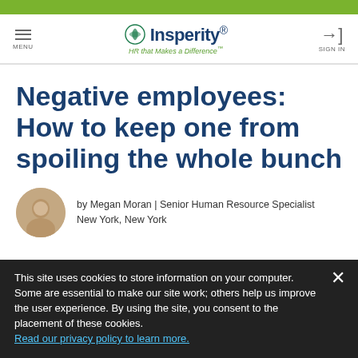Insperity — HR that Makes a Difference™
Negative employees: How to keep one from spoiling the whole bunch
by Megan Moran | Senior Human Resource Specialist
New York, New York
This site uses cookies to store information on your computer. Some are essential to make our site work; others help us improve the user experience. By using the site, you consent to the placement of these cookies. Read our privacy policy to learn more.